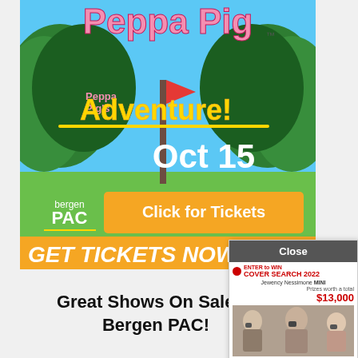[Figure (illustration): Peppa Pig's Adventure promotional advertisement showing the show title 'Peppa Pig' in pink letters on a blue sky background with green trees, 'Peppa Pig's Adventure!' in yellow, Oct 15 date, bergенPAC logo, orange 'Click for Tickets' button, and orange 'GET TICKETS NOW' bar at the bottom.]
Great Shows On Sale at Bergen PAC!
[Figure (screenshot): Popup overlay with 'Close' button, showing 'ENTER to WIN COVER SEARCH 2022' for New Jersey magazine with prizes worth a total of $13,000, featuring photos of people with cameras.]